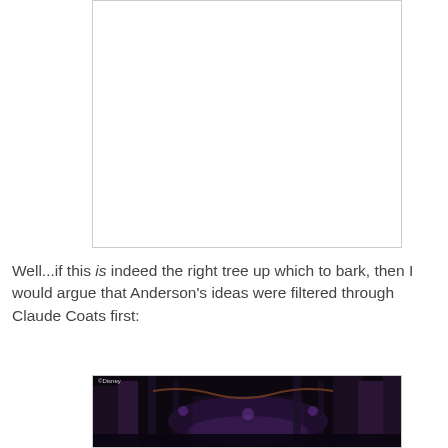[Figure (photo): White/blank rectangular image placeholder with light grey border, top portion of page]
Well...if this is indeed the right tree up which to bark, then I would argue that Anderson's ideas were filtered through Claude Coats first:
[Figure (photo): Dark fantasy/gothic architectural scene with purple lighting, ornate structures, appears to be from a Disney attraction or film. Copyright Disney watermark visible.]